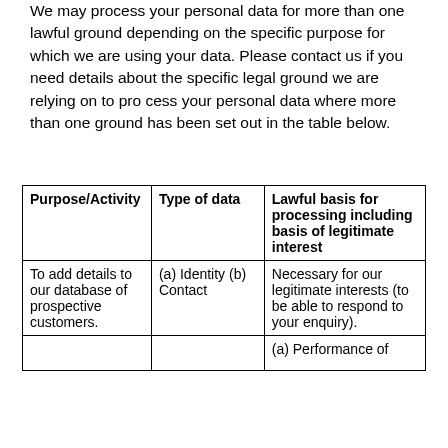We may process your personal data for more than one lawful ground depending on the specific purpose for which we are using your data. Please contact us if you need details about the specific legal ground we are relying on to pro cess your personal data where more than one ground has been set out in the table below.
| Purpose/Activity | Type of data | Lawful basis for processing including basis of legitimate interest |
| --- | --- | --- |
| To add details to our database of prospective customers. | (a) Identity (b) Contact | Necessary for our legitimate interests (to be able to respond to your enquiry). |
|  |  | (a) Performance of |